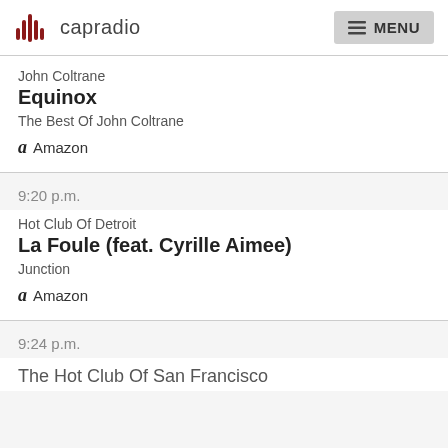capradio  MENU
John Coltrane
Equinox
The Best Of John Coltrane
Amazon
9:20 p.m.
Hot Club Of Detroit
La Foule (feat. Cyrille Aimee)
Junction
Amazon
9:24 p.m.
The Hot Club Of San Francisco